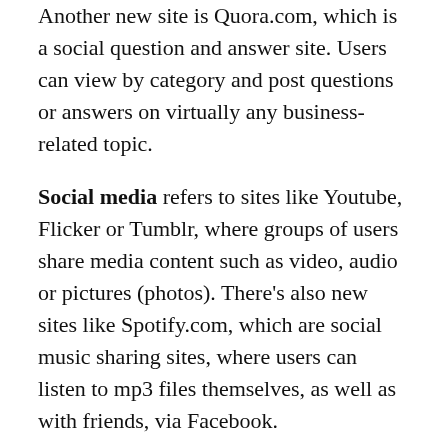Another new site is Quora.com, which is a social question and answer site. Users can view by category and post questions or answers on virtually any business-related topic.
Social media refers to sites like Youtube, Flicker or Tumblr, where groups of users share media content such as video, audio or pictures (photos). There’s also new sites like Spotify.com, which are social music sharing sites, where users can listen to mp3 files themselves, as well as with friends, via Facebook.
The following are some social sites that you may want to include in your online marketing mix as well as some other tactical tidbits: